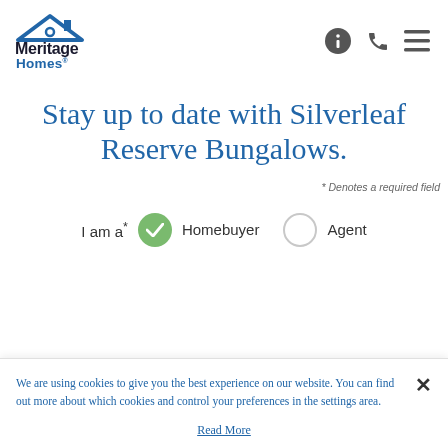[Figure (logo): Meritage Homes logo with blue house roof silhouette, bold black 'Meritage' text and blue 'Homes' text]
Stay up to date with Silverleaf Reserve Bungalows.
* Denotes a required field
I am a* [Homebuyer selected] [Agent not selected]
We are using cookies to give you the best experience on our website. You can find out more about which cookies and control your preferences in the settings area.
Read More